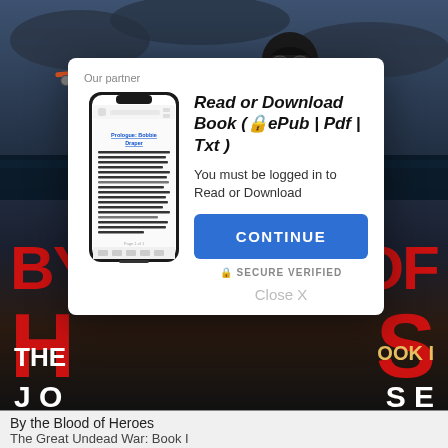[Figure (photo): Background book cover image for 'By the Blood of Heroes - The Great Undead War: Book I' showing WWI aircraft and soldiers against a dark stormy sky]
Our partner
[Figure (screenshot): Smartphone showing e-reader app with book content 'Prologue: Bobbie Draper']
Read or Download Book (🔒ePub | Pdf | Txt )
You must be logged in to Read or Download
CONTINUE
🔒 SECURE VERIFIED
Close X
By the Blood of Heroes
The Great Undead War: Book I